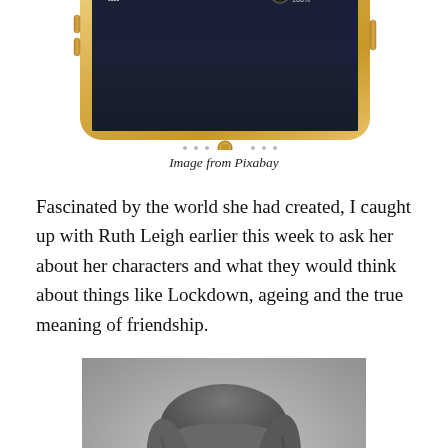[Figure (photo): Bottom portion of a gold iPhone shown from above at an angle, with a screen visible at the top edge — partial view of phone on white background.]
Image from Pixabay
Fascinated by the world she had created, I caught up with Ruth Leigh earlier this week to ask her about her characters and what they would think about things like Lockdown, ageing and the true meaning of friendship.
[Figure (photo): Black and white headshot portrait of a woman with bangs and shoulder-length hair, smiling softly at the camera.]